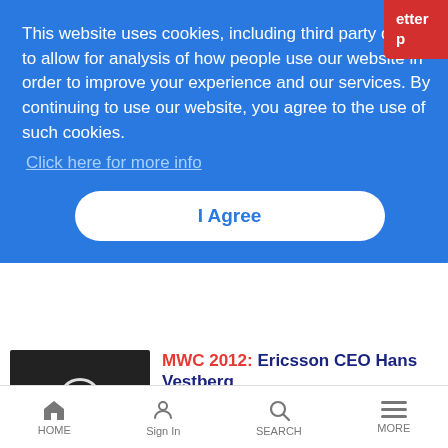This website uses cookies, including third party ones, to allow for analysis of how people use our website in order to improve your experience and our services. By continuing to use our website, you agree to the use of such cookies.
Click here for more info
I Agree
MWC 2012: Ericsson CEO Hans Vestberg
LRTV Interviews | 2/27/2012
Ericsson CEO talks about mobile networks and OSS/BSS market share, LTE success, small cells and his company's new partnership with money transfer giant Western Union
HOME   Sign In   SEARCH   MORE